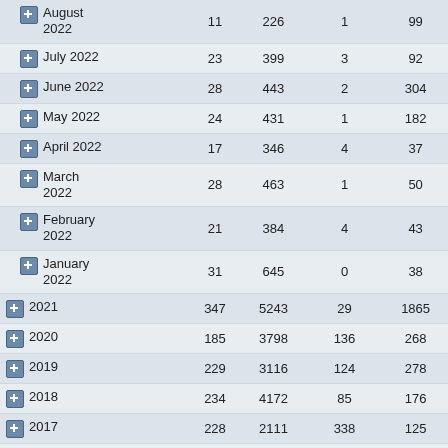| Period | Col1 | Col2 | Col3 | Col4 |
| --- | --- | --- | --- | --- |
| August 2022 | 11 | 226 | 1 | 99 |
| July 2022 | 23 | 399 | 3 | 92 |
| June 2022 | 28 | 443 | 2 | 304 |
| May 2022 | 24 | 431 | 1 | 182 |
| April 2022 | 17 | 346 | 4 | 37 |
| March 2022 | 28 | 463 | 1 | 50 |
| February 2022 | 21 | 384 | 4 | 43 |
| January 2022 | 31 | 645 | 0 | 38 |
| 2021 | 347 | 5243 | 29 | 1865 |
| 2020 | 185 | 3798 | 136 | 268 |
| 2019 | 229 | 3116 | 124 | 278 |
| 2018 | 234 | 4172 | 85 | 176 |
| 2017 | 228 | 2111 | 338 | 125 |
| 2016 | 251 | 2578 | 357 | 105 |
| 2015 | 168 | 1056 | 821 | 107 |
| 2014 | 188 | 1221 | 11764 | 80 |
| December 2014 | 11 | 97 | 117 | 57 |